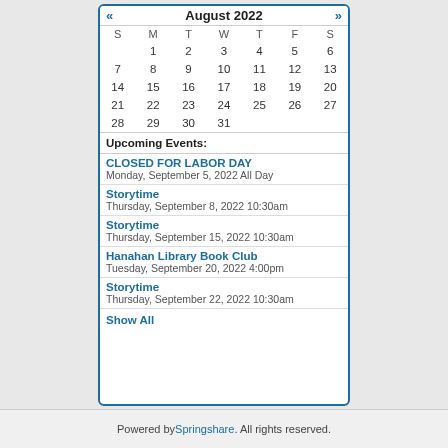| S | M | T | W | T | F | S |
| --- | --- | --- | --- | --- | --- | --- |
|  | 1 | 2 | 3 | 4 | 5 | 6 |
| 7 | 8 | 9 | 10 | 11 | 12 | 13 |
| 14 | 15 | 16 | 17 | 18 | 19 | 20 |
| 21 | 22 | 23 | 24 | 25 | 26 | 27 |
| 28 | 29 | 30 | 31 |  |  |  |
Upcoming Events:
CLOSED FOR LABOR DAY
Monday, September 5, 2022 All Day
Storytime
Thursday, September 8, 2022 10:30am
Storytime
Thursday, September 15, 2022 10:30am
Hanahan Library Book Club
Tuesday, September 20, 2022 4:00pm
Storytime
Thursday, September 22, 2022 10:30am
Show All
Powered by Springshare. All rights reserved.